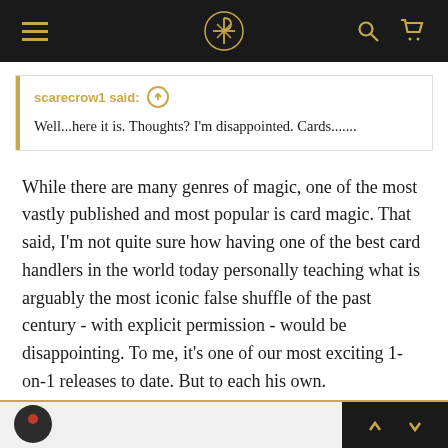Navigation bar with menu, logo, search, and cart icons
scarecrow1 said: ↑
Well...here it is. Thoughts? I'm disappointed. Cards.......
While there are many genres of magic, one of the most vastly published and most popular is card magic. That said, I'm not quite sure how having one of the best card handlers in the world today personally teaching what is arguably the most iconic false shuffle of the past century - with explicit permission - would be disappointing. To me, it's one of our most exciting 1-on-1 releases to date. But to each his own.
Navigation arrows